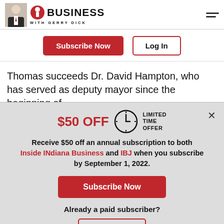[Figure (logo): Inside INdiana Business with Gerry Dick logo — photo of man in suit on left, red circular logo icon, bold BUSINESS text, subtitle WITH GERRY DICK]
Subscribe Now    Log In
Thomas succeeds Dr. David Hampton, who has served as deputy mayor since the beginning of
$50 OFF  LIMITED TIME OFFER
Receive $50 off an annual subscription to both Inside INdiana Business and IBJ when you subscribe by September 1, 2022.
Subscribe Now
Already a paid subscriber?
Log In